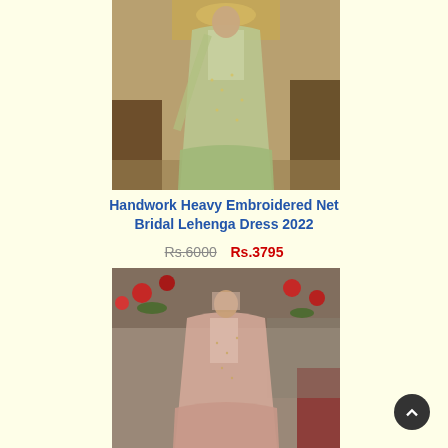[Figure (photo): Woman wearing a light green/sage heavy embroidered net bridal lehenga dress, standing in an ornate room with chandeliers]
Handwork Heavy Embroidered Net Bridal Lehenga Dress 2022
Rs.6000  Rs.3795
[Figure (photo): Woman wearing a light pink/peach heavy embroidered bridal lehenga dress, standing outdoors near red roses]